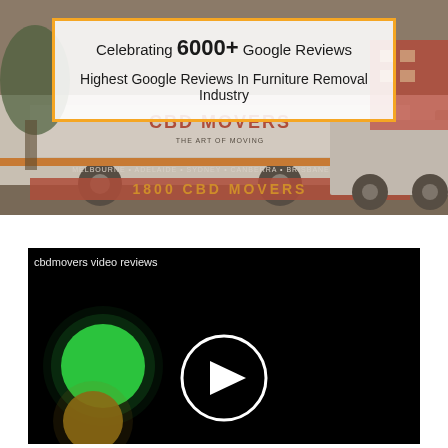[Figure (photo): CBD Movers truck photo banner background showing two large white moving trucks with 'CBD MOVERS' branding and city names Melbourne, Adelaide, Sydney, Canberra, Brisbane, Perth. Sepia/desaturated tone.]
Celebrating 6000+ Google Reviews
Highest Google Reviews In Furniture Removal Industry
[Figure (screenshot): Video player screenshot showing cbdmovers video reviews. Black background with a green glowing circle on the left side, a brownish/orange glowing circle below it, and a white circular play button icon in the center.]